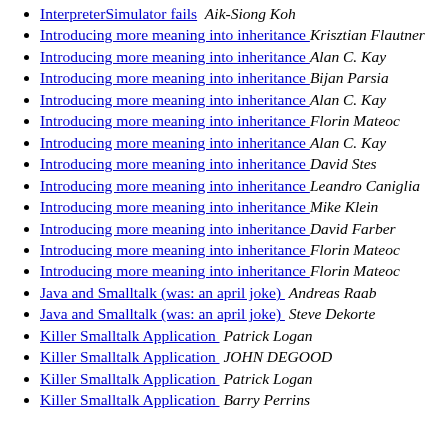InterpreterSimulator fails  Aik-Siong Koh
Introducing more meaning into inheritance  Krisztian Flautner
Introducing more meaning into inheritance  Alan C. Kay
Introducing more meaning into inheritance  Bijan Parsia
Introducing more meaning into inheritance  Alan C. Kay
Introducing more meaning into inheritance  Florin Mateoc
Introducing more meaning into inheritance  Alan C. Kay
Introducing more meaning into inheritance  David Stes
Introducing more meaning into inheritance  Leandro Caniglia
Introducing more meaning into inheritance  Mike Klein
Introducing more meaning into inheritance  David Farber
Introducing more meaning into inheritance  Florin Mateoc
Introducing more meaning into inheritance  Florin Mateoc
Java and Smalltalk (was: an april joke)  Andreas Raab
Java and Smalltalk (was: an april joke)  Steve Dekorte
Killer Smalltalk Application  Patrick Logan
Killer Smalltalk Application  JOHN DEGOOD
Killer Smalltalk Application  Patrick Logan
Killer Smalltalk Application  Barry Perrins